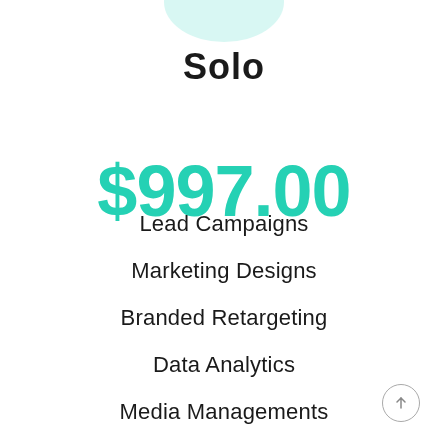Solo
$997.00
Lead Campaigns
Marketing Designs
Branded Retargeting
Data Analytics
Media Managements